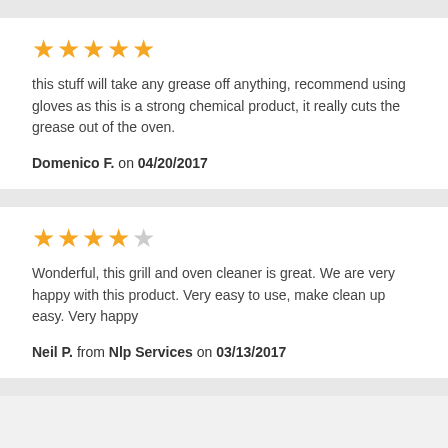[Figure (other): Five gold star rating icons]
this stuff will take any grease off anything, recommend using gloves as this is a strong chemical product, it really cuts the grease out of the oven.
Domenico F. on 04/20/2017
[Figure (other): Four gold stars and one empty/gray star rating icons]
Wonderful, this grill and oven cleaner is great. We are very happy with this product. Very easy to use, make clean up easy. Very happy
Neil P. from Nlp Services on 03/13/2017